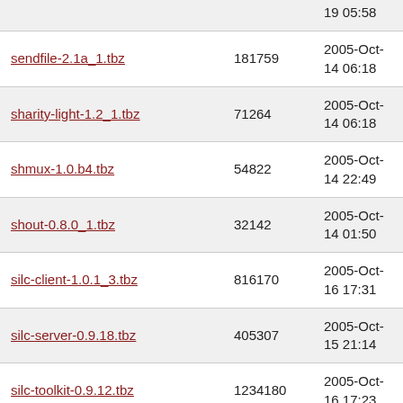| Filename | Size | Date |
| --- | --- | --- |
| (partial top row) |  | 19 05:58 |
| sendfile-2.1a_1.tbz | 181759 | 2005-Oct-14 06:18 |
| sharity-light-1.2_1.tbz | 71264 | 2005-Oct-14 06:18 |
| shmux-1.0.b4.tbz | 54822 | 2005-Oct-14 22:49 |
| shout-0.8.0_1.tbz | 32142 | 2005-Oct-14 01:50 |
| silc-client-1.0.1_3.tbz | 816170 | 2005-Oct-16 17:31 |
| silc-server-0.9.18.tbz | 405307 | 2005-Oct-15 21:14 |
| silc-toolkit-0.9.12.tbz | 1234180 | 2005-Oct-16 17:23 |
| silky-0.5.4.tbz | 243886 | 2005-Oct-20 17:08 |
| simicq-0.9.3_3.tbz | 3786608 | 2005-Oct-20 14:47 |
| sip_scenario-1.2.7.tbz | 56029 | 2005-Oct-14 16:36 |
| sinroxd-0.5.11.tbz | 79719 | 2005-Oct- |